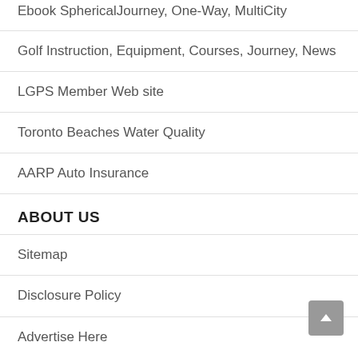Ebook SphericalJourney, One-Way, MultiCity
Golf Instruction, Equipment, Courses, Journey, News
LGPS Member Web site
Toronto Beaches Water Quality
AARP Auto Insurance
ABOUT US
Sitemap
Disclosure Policy
Advertise Here